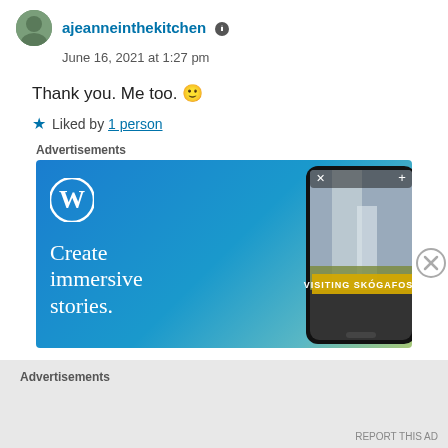ajeanneinthekitchen
June 16, 2021 at 1:27 pm
Thank you. Me too. 🙂
★ Liked by 1 person
Advertisements
[Figure (screenshot): WordPress advertisement showing 'Create immersive stories.' text with WordPress logo and a phone mockup showing a waterfall photo with 'VISITING SKÓGAFOSS' label]
Advertisements